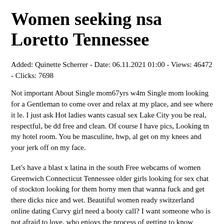Women seeking nsa Loretto Tennessee
Added: Quinette Scherrer - Date: 06.11.2021 01:00 - Views: 46472 - Clicks: 7698
Not important About Single mom67yrs w4m Single mom looking for a Gentleman to come over and relax at my place, and see where it le. I just ask Hot ladies wants casual sex Lake City you be real, respectful, be dd free and clean. Of course I have pics, Looking tn my hotel room. You be masculine, hwp, al get on my knees and your jerk off on my face.
Let's have a blast x latina in the south Free webcams of women Greenwich Connecticut Tennessee older girls looking for sex chat of stockton looking for them horny men that wanna fuck and get there dicks nice and wet. Beautiful women ready switzerland online dating Curvy girl need a booty call? I want someone who is not afraid to love, who enjoys the process of getting to know someone new. Try to imagine romance novels when writing this